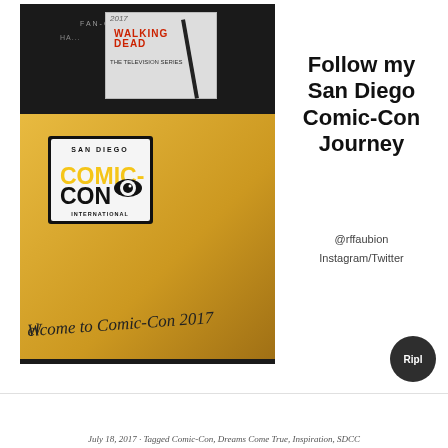[Figure (photo): A San Diego Comic-Con 2017 welcome kit box in gold/orange with the Comic-Con International logo, with Walking Dead merchandise visible above, and text 'Welcome to Comic-Con 2017' on the box.]
Follow my San Diego Comic-Con Journey
@rffaubion
Instagram/Twitter
[Figure (logo): Ripl app logo button - dark circle with 'Ripl' text in white]
July 18, 2017 · Tagged Comic-Con, Dreams Come True, Inspiration, SDCC